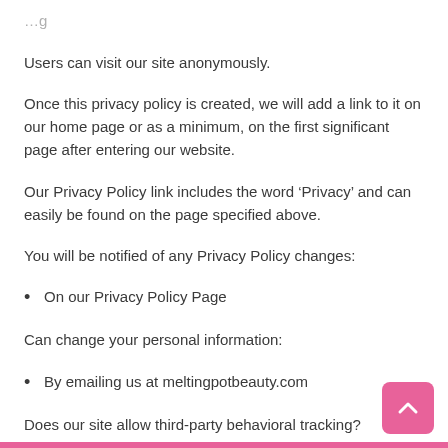Users can visit our site anonymously.
Once this privacy policy is created, we will add a link to it on our home page or as a minimum, on the first significant page after entering our website.
Our Privacy Policy link includes the word ‘Privacy’ and can easily be found on the page specified above.
You will be notified of any Privacy Policy changes:
On our Privacy Policy Page
Can change your personal information:
By emailing us at meltingpotbeauty.com
Does our site allow third-party behavioral tracking?
We allow third-party behavioral tracking.